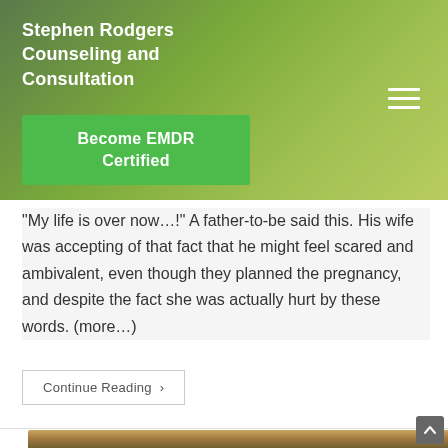Stephen Rodgers Counseling and Consultation
[Figure (screenshot): Green gradient header background with hamburger menu icon]
Become EMDR Certified
"My life is over now...!" A father-to-be said this. His wife was accepting of that fact that he might feel scared and ambivalent, even though they planned the pregnancy, and despite the fact she was actually hurt by these words. (more...)
Continue Reading ›
[Figure (photo): Partial landscape photo visible at bottom of page]